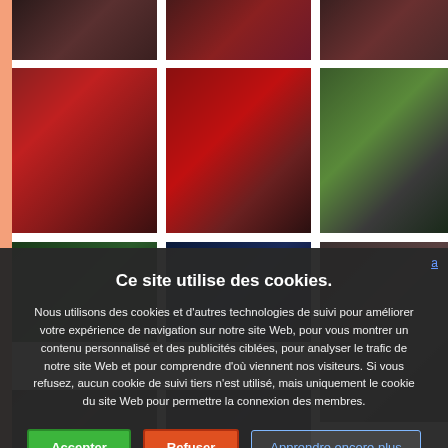[Figure (photo): Grid of wedding/event photos showing couples in red and white outfits, floral decorations]
Ce site utilise des cookies.
Nous utilisons des cookies et d'autres technologies de suivi pour améliorer votre expérience de navigation sur notre site Web, pour vous montrer un contenu personnalisé et des publicités ciblées, pour analyser le trafic de notre site Web et pour comprendre d'où viennent nos visiteurs. Si vous refusez, aucun cookie de suivi tiers n'est utilisé, mais uniquement le cookie du site Web pour permettre la connexion des membres.
Accepter
Refuser
Apprendre encore plus